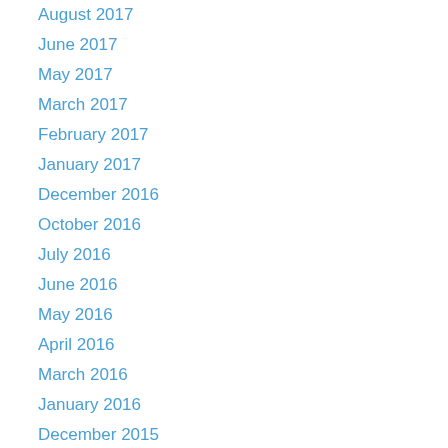August 2017
June 2017
May 2017
March 2017
February 2017
January 2017
December 2016
October 2016
July 2016
June 2016
May 2016
April 2016
March 2016
January 2016
December 2015
November 2015
October 2015
September 2015
July 2015
June 2015